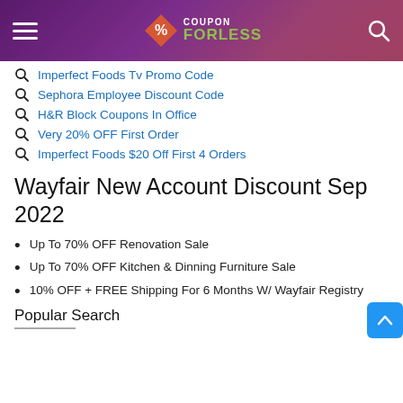Coupon ForLess
Imperfect Foods Tv Promo Code
Sephora Employee Discount Code
H&R Block Coupons In Office
Very 20% OFF First Order
Imperfect Foods $20 Off First 4 Orders
Wayfair New Account Discount Sep 2022
Up To 70% OFF Renovation Sale
Up To 70% OFF Kitchen & Dinning Furniture Sale
10% OFF + FREE Shipping For 6 Months W/ Wayfair Registry
Popular Search